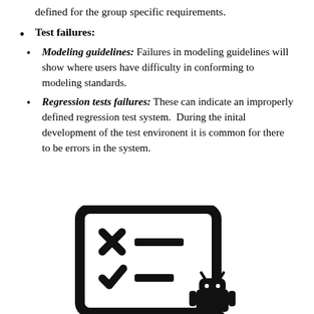defined for the group specific requirements.
Test failures:
Modeling guidelines: Failures in modeling guidelines will show where users have difficulty in conforming to modeling standards.
Regression tests failures: These can indicate an improperly defined regression test system.  During the inital development of the test environent it is common for there to be errors in the system.
[Figure (illustration): A tablet/clipboard icon showing a checklist with an X mark and a checkmark with a small Android robot figure at the bottom right.]